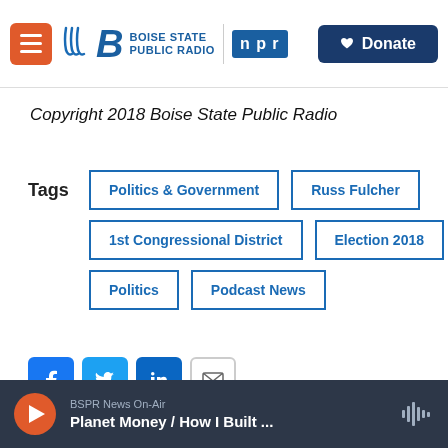[Figure (logo): Boise State Public Radio and NPR header bar with orange menu button, station logo, NPR badge, and dark blue Donate button]
Copyright 2018 Boise State Public Radio
Tags  Politics & Government  Russ Fulcher  1st Congressional District  Election 2018  Politics  Podcast News
[Figure (infographic): Social sharing buttons: Facebook, Twitter, LinkedIn, and Email icons]
BSPR News On-Air  Planet Money / How I Built ...